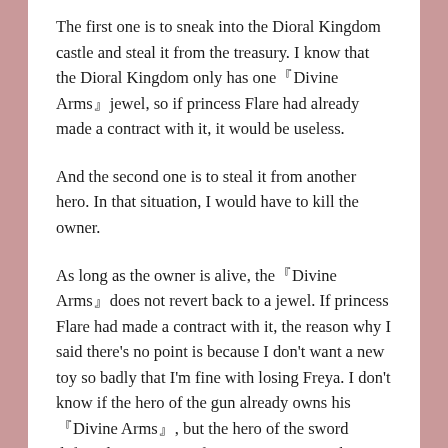The first one is to sneak into the Dioral Kingdom castle and steal it from the treasury. I know that the Dioral Kingdom only has one『Divine Arms』jewel, so if princess Flare had already made a contract with it, it would be useless.
And the second one is to steal it from another hero. In that situation, I would have to kill the owner.
As long as the owner is alive, the『Divine Arms』does not revert back to a jewel. If princess Flare had made a contract with it, the reason why I said there's no point is because I don't want a new toy so badly that I'm fine with losing Freya. I don't know if the hero of the gun already owns his『Divine Arms』, but the hero of the sword definitely owns one. If an opportunity to take revenge comes, then I will quickly kill her and steal it. Please, I wish that that shitty lesbian has ended as a human in this world